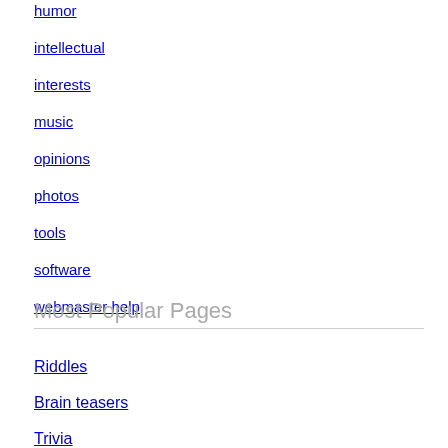humor
intellectual
interests
music
opinions
photos
tools
software
webmaster help
Most Popular Pages
Riddles
Brain teasers
Trivia
Pickup lines